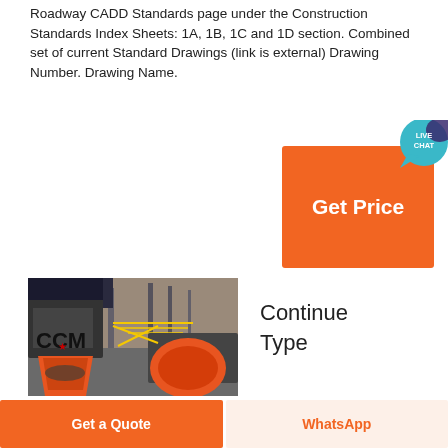Roadway CADD Standards page under the Construction Standards Index Sheets: 1A, 1B, 1C and 1D section. Combined set of current Standard Drawings (link is external) Drawing Number. Drawing Name.
[Figure (infographic): Get Price button with Live Chat bubble in orange and teal]
[Figure (photo): Industrial CCM machinery with orange hoppers and steel framework]
Continue Type
Get a Quote
WhatsApp